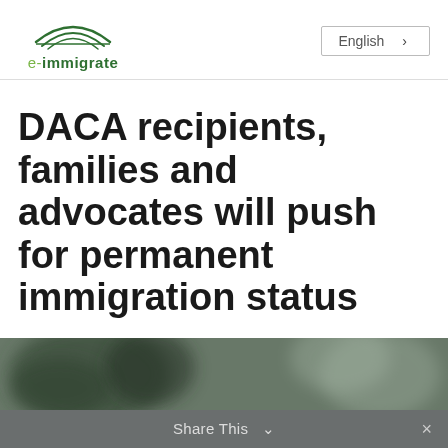e-immigrate | English
DACA recipients, families and advocates will push for permanent immigration status
[Figure (photo): Blurred outdoor photo partially visible at the bottom of the page]
Share This